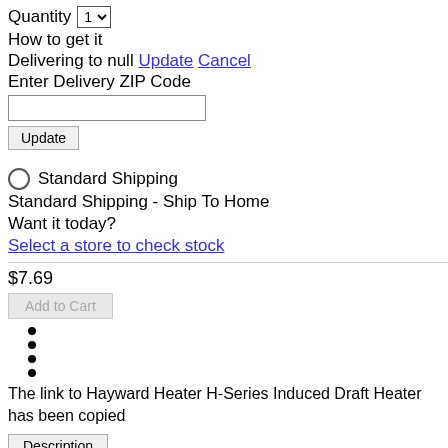Quantity 1
How to get it
Delivering to null Update Cancel
Enter Delivery ZIP Code
Standard Shipping
Standard Shipping - Ship To Home
Want it today?
Select a store to check stock
$7.69
The link to Hayward Heater H-Series Induced Draft Heater has been copied
Description